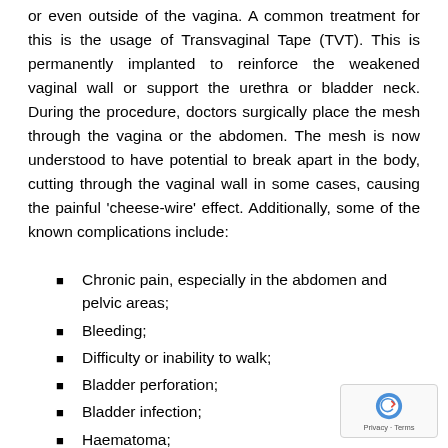or even outside of the vagina. A common treatment for this is the usage of Transvaginal Tape (TVT). This is permanently implanted to reinforce the weakened vaginal wall or support the urethra or bladder neck. During the procedure, doctors surgically place the mesh through the vagina or the abdomen. The mesh is now understood to have potential to break apart in the body, cutting through the vaginal wall in some cases, causing the painful 'cheese-wire' effect. Additionally, some of the known complications include:
Chronic pain, especially in the abdomen and pelvic areas;
Bleeding;
Difficulty or inability to walk;
Bladder perforation;
Bladder infection;
Haematoma;
Vaginal erosion or scarring;